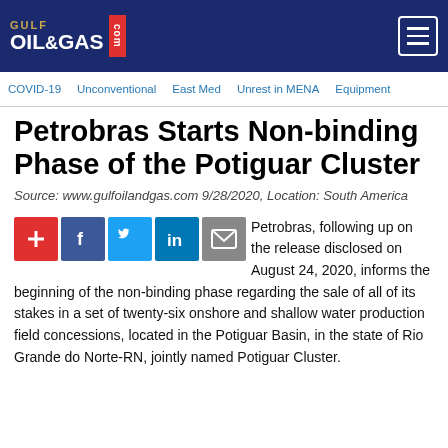Gulf Oil & Gas .com
COVID-19  Unconventional  East Med  Unrest in MENA  Equipment
Petrobras Starts Non-binding Phase of the Potiguar Cluster
Source: www.gulfoilandgas.com 9/28/2020, Location: South America
Petrobras, following up on the release disclosed on August 24, 2020, informs the beginning of the non-binding phase regarding the sale of all of its stakes in a set of twenty-six onshore and shallow water production field concessions, located in the Potiguar Basin, in the state of Rio Grande do Norte-RN, jointly named Potiguar Cluster.